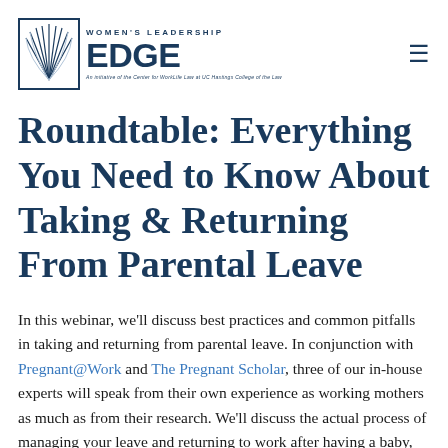[Figure (logo): Women's Leadership EDGE logo — stylized sunburst/wheat sheaf icon with text 'WOMEN'S LEADERSHIP EDGE' and subtitle 'An initiative of the Center for WorkLife Law at UC Hastings College of the Law']
Roundtable: Everything You Need to Know About Taking & Returning From Parental Leave
In this webinar, we'll discuss best practices and common pitfalls in taking and returning from parental leave. In conjunction with Pregnant@Work and The Pregnant Scholar, three of our in-house experts will speak from their own experience as working mothers as much as from their research. We'll discuss the actual process of managing your leave and returning to work after having a baby, covering topics often overlooked by HR handbooks, including